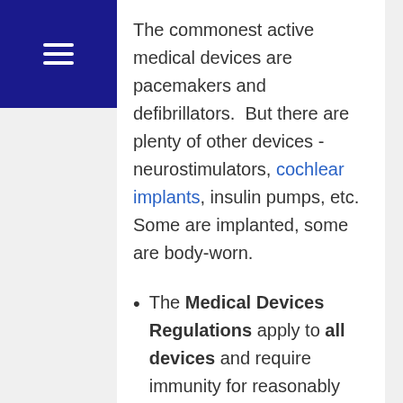hamburger menu icon
The commonest active medical devices are pacemakers and defibrillators.  But there are plenty of other devices - neurostimulators, cochlear implants, insulin pumps, etc.  Some are implanted, some are body-worn.
The Medical Devices Regulations apply to all devices and require immunity for reasonably foreseeable environmental conditions - but don't specify what these reasonably foreseeable